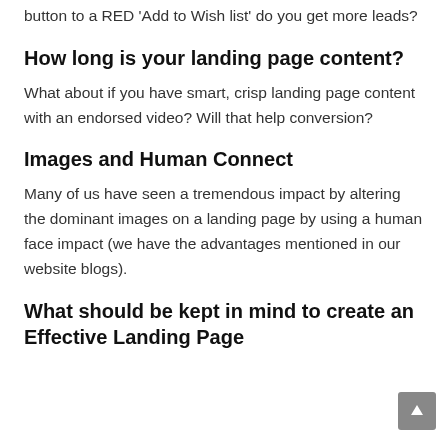button to a RED 'Add to Wish list' do you get more leads?
How long is your landing page content?
What about if you have smart, crisp landing page content with an endorsed video? Will that help conversion?
Images and Human Connect
Many of us have seen a tremendous impact by altering the dominant images on a landing page by using a human face impact (we have the advantages mentioned in our website blogs).
What should be kept in mind to create an Effective Landing Page